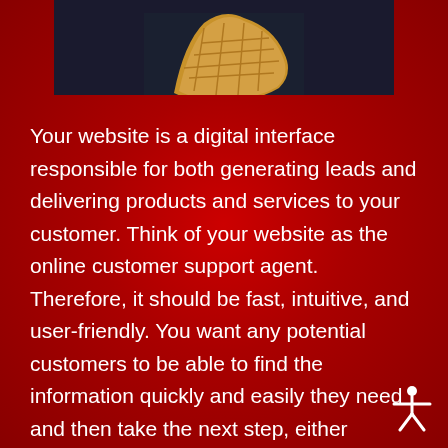[Figure (photo): Photo of a waffle or waffle-cone shaped object on a dark background, partially visible at the top of the page]
Your website is a digital interface responsible for both generating leads and delivering products and services to your customer. Think of your website as the online customer support agent. Therefore, it should be fast, intuitive, and user-friendly. You want any potential customers to be able to find the information quickly and easily they need and then take the next step, either ordering online or contacting yours directly.
[Figure (illustration): White accessibility icon (human figure with arms extended) in the bottom right corner]